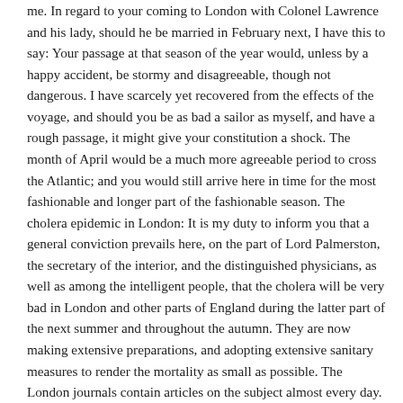me. In regard to your coming to London with Colonel Lawrence and his lady, should he be married in February next, I have this to say: Your passage at that season of the year would, unless by a happy accident, be stormy and disagreeable, though not dangerous. I have scarcely yet recovered from the effects of the voyage, and should you be as bad a sailor as myself, and have a rough passage, it might give your constitution a shock. The month of April would be a much more agreeable period to cross the Atlantic; and you would still arrive here in time for the most fashionable and longer part of the fashionable season. The cholera epidemic in London: It is my duty to inform you that a general conviction prevails here, on the part of Lord Palmerston, the secretary of the interior, and the distinguished physicians, as well as among the intelligent people, that the cholera will be very bad in London and other parts of England during the latter part of the next summer and throughout the autumn. They are now making extensive preparations, and adopting extensive sanitary measures to render the mortality as small as possible. The London journals contain articles on the subject almost every day. Their reason for this conviction is,—that we have just had about as many cases of cholera during the past autumn, as there were during the autumn in a former year, preceding the season when it raged so extensively and violently. Now this question will be for your own consideration. I think it my duty to state the facts, and it will be for you to decide whether you will postpone your visit